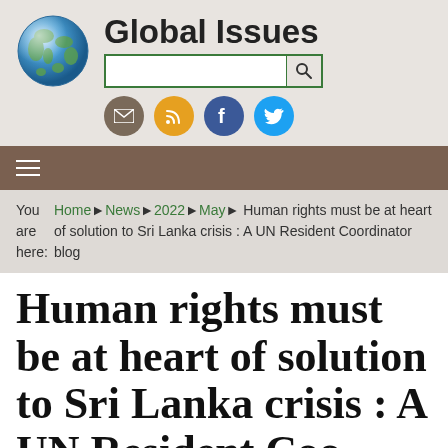[Figure (logo): Global Issues website logo with Earth globe image and site title 'Global Issues', search bar, and social media icons for email, RSS, Facebook, and Twitter]
≡
You are here: Home ▶ News ▶ 2022 ▶ May ▶ Human rights must be at heart of solution to Sri Lanka crisis : A UN Resident Coordinator blog
Human rights must be at heart of solution to Sri Lanka crisis : A UN Resident Coordinator blog